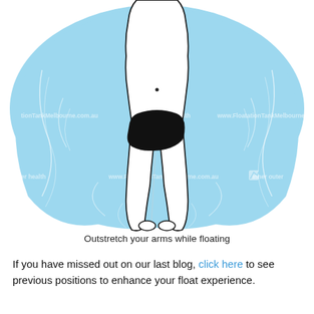[Figure (illustration): Illustration of a woman floating on water viewed from above, wearing black bikini, arms outstretched, with light blue water and white swirl ripples around her body. Watermark text 'www.FloatationTankMelbourne.com.au' and 'inner outer health' visible.]
Outstretch your arms while floating
If you have missed out on our last blog, click here to see previous positions to enhance your float experience.